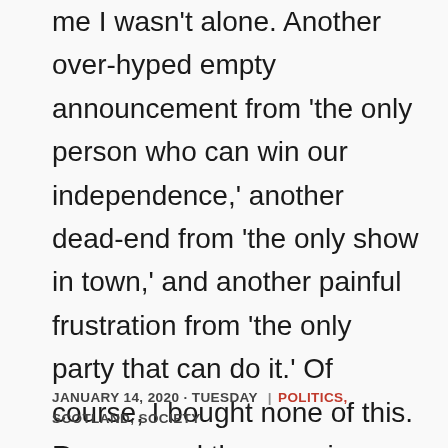me I wasn't alone. Another over-hyped empty announcement from 'the only person who can win our independence,' another dead-end from 'the only show in town,' and another painful frustration from 'the only party that can do it.' Of course, I bought none of this. Reason and the experience of the past six years warned me to expect nothing, but hope – that twisted trick the psyche plays on us – had me thinking there was a chance; slim and unlikely, but a chance.
JANUARY 14, 2020 · TUESDAY | POLITICS, SCOTLAND, SOCIETY